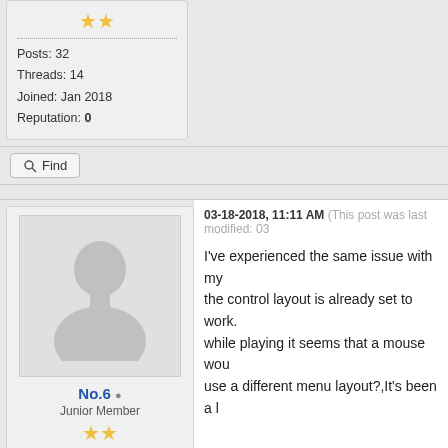Posts: 32
Threads: 14
Joined: Jan 2018
Reputation: 0
Find
03-18-2018, 11:11 AM (This post was last modified: 03...
[Figure (illustration): Default user avatar silhouette (gray background with person outline)]
No.6
Junior Member
Posts: 1
Threads: 0
Joined: Mar 2018
Reputation: 0
I've experienced the same issue with my the control layout is already set to work. while playing it seems that a mouse wou use a different menu layout?,It's been a l
Find